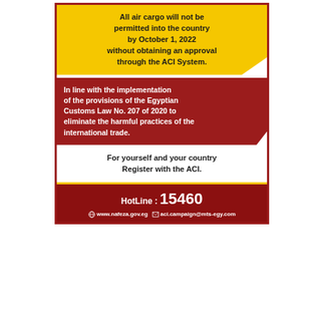All air cargo will not be permitted into the country by October 1, 2022 without obtaining an approval through the ACI System.
In line with the implementation of the provisions of the Egyptian Customs Law No. 207 of 2020 to eliminate the harmful practices of the international trade.
For yourself and your country Register with the ACI.
HotLine : 15460
www.nafeza.gov.eg  aci.campaign@mts-egy.com